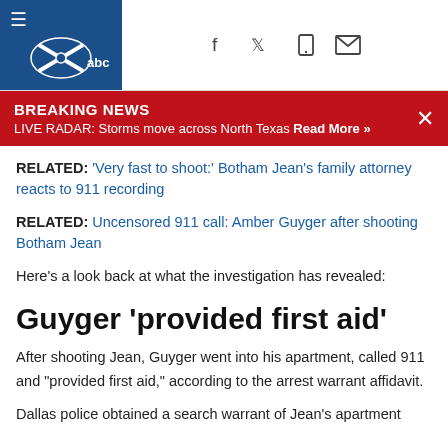WFAA ABC News navigation bar
BREAKING NEWS
LIVE RADAR: Storms move across North Texas Read More »
RELATED: 'Very fast to shoot:' Botham Jean's family attorney reacts to 911 recording
RELATED: Uncensored 911 call: Amber Guyger after shooting Botham Jean
Here's a look back at what the investigation has revealed:
Guyger 'provided first aid'
After shooting Jean, Guyger went into his apartment, called 911 and "provided first aid," according to the arrest warrant affidavit.
Dallas police obtained a search warrant of Jean's apartment